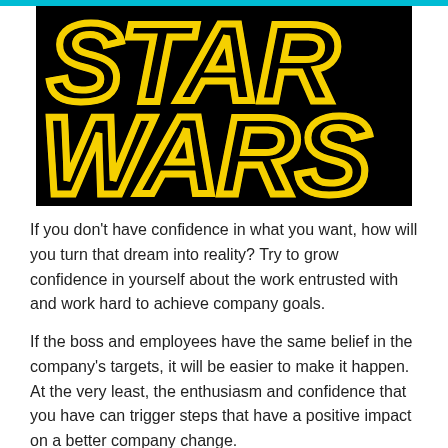[Figure (logo): Star Wars logo — large yellow outlined bold letters spelling 'STAR WARS' on a black background, in the iconic Star Wars movie title style]
If you don't have confidence in what you want, how will you turn that dream into reality? Try to grow confidence in yourself about the work entrusted with and work hard to achieve company goals.
If the boss and employees have the same belief in the company's targets, it will be easier to make it happen. At the very least, the enthusiasm and confidence that you have can trigger steps that have a positive impact on a better company change.